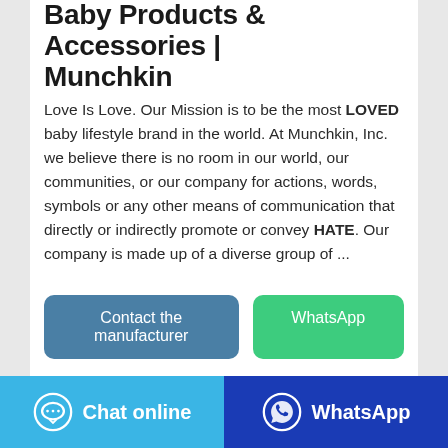Baby Products & Accessories | Munchkin
Love Is Love. Our Mission is to be the most LOVED baby lifestyle brand in the world. At Munchkin, Inc. we believe there is no room in our world, our communities, or our company for actions, words, symbols or any other means of communication that directly or indirectly promote or convey HATE. Our company is made up of a diverse group of ...
[Figure (other): Two buttons: 'Contact the manufacturer' (blue) and 'WhatsApp' (green)]
[Figure (photo): A green bubu bear branded product box partially visible at the bottom of the card]
Chat online    WhatsApp